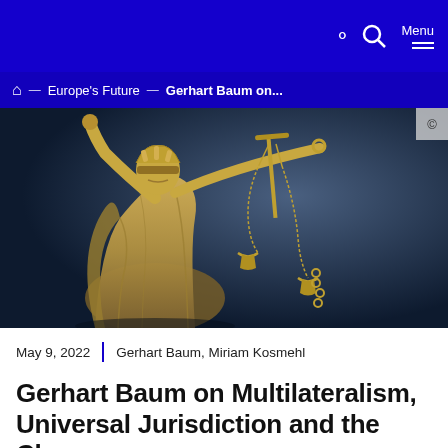Menu
Europe's Future — Gerhart Baum on...
[Figure (photo): Bronze statue of Lady Justice (Justitia) blindfolded and holding scales, photographed against a dark blue background.]
May 9, 2022  |  Gerhart Baum, Miriam Kosmehl
Gerhart Baum on Multilateralism, Universal Jurisdiction and the Chance